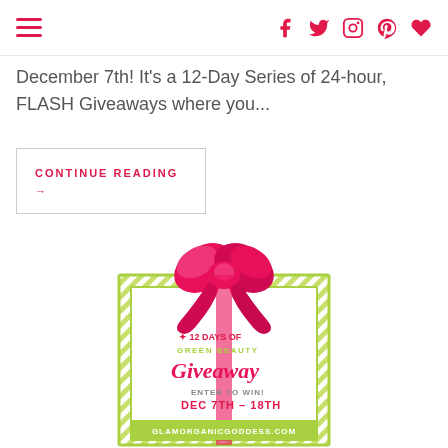Navigation and social icons header
December 7th! It's a 12-Day Series of 24-hour, FLASH Giveaways where you...
CONTINUE READING →
[Figure (illustration): 12 Days of Green Beauty Giveaway promotional graphic showing a gift box with a large pink bow and green striped border. Text reads: 12 DAYS OF GREEN BEAUTY Giveaway ENTER TO WIN! DEC 7TH - 18TH glamorganicgoddess.com]